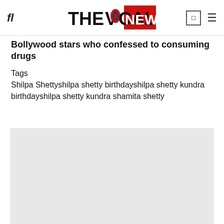THE VOCAL NEWS
Bollywood stars who confessed to consuming drugs
Tags
Shilpa Shettyshilpa shetty birthdayshilpa shetty kundra birthdayshilpa shetty kundra shamita shetty
[Figure (photo): Gray placeholder image area below the tags section]